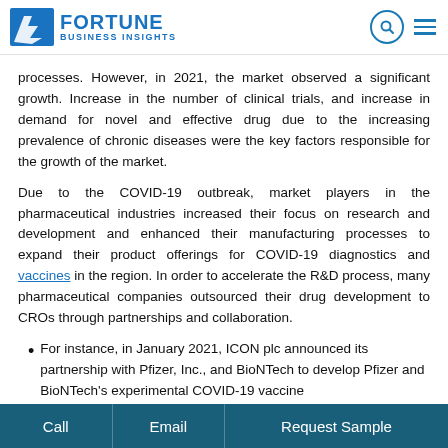Fortune Business Insights
processes. However, in 2021, the market observed a significant growth. Increase in the number of clinical trials, and increase in demand for novel and effective drug due to the increasing prevalence of chronic diseases were the key factors responsible for the growth of the market.
Due to the COVID-19 outbreak, market players in the pharmaceutical industries increased their focus on research and development and enhanced their manufacturing processes to expand their product offerings for COVID-19 diagnostics and vaccines in the region. In order to accelerate the R&D process, many pharmaceutical companies outsourced their drug development to CROs through partnerships and collaboration.
For instance, in January 2021, ICON plc announced its partnership with Pfizer, Inc., and BioNTech to develop Pfizer and BioNTech's experimental COVID-19 vaccine
Call | Email | Request Sample